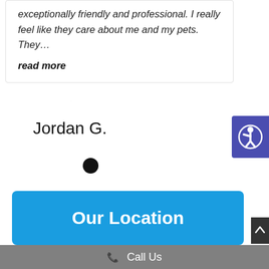exceptionally friendly and professional. I really feel like they care about me and my pets. They… read more
Jordan G.
[Figure (other): Pagination dot indicator, single filled black circle]
Our Location
[Figure (other): Accessibility icon button - purple square with wheelchair user symbol]
Call Us